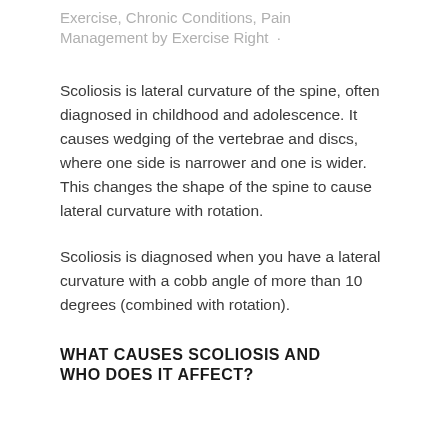Exercise, Chronic Conditions, Pain Management by Exercise Right ·
Scoliosis is lateral curvature of the spine, often diagnosed in childhood and adolescence. It causes wedging of the vertebrae and discs, where one side is narrower and one is wider. This changes the shape of the spine to cause lateral curvature with rotation.
Scoliosis is diagnosed when you have a lateral curvature with a cobb angle of more than 10 degrees (combined with rotation).
WHAT CAUSES SCOLIOSIS AND WHO DOES IT AFFECT?